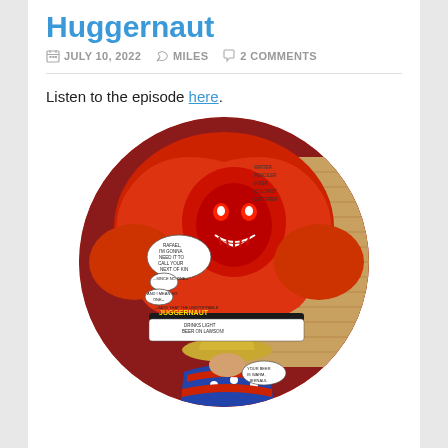Huggernaut
JULY 10, 2022   MILES   2 COMMENTS
Listen to the episode here.
[Figure (illustration): Circular cropped comic book panel showing the Juggernaut (large red armored villain) grappling with a cowboy-hat-wearing character. Speech bubbles visible. Comic book art style.]